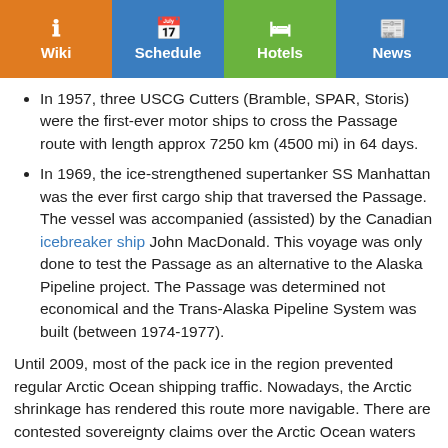Wiki | Schedule | Hotels | News
In 1957, three USCG Cutters (Bramble, SPAR, Storis) were the first-ever motor ships to cross the Passage route with length approx 7250 km (4500 mi) in 64 days.
In 1969, the ice-strengthened supertanker SS Manhattan was the ever first cargo ship that traversed the Passage. The vessel was accompanied (assisted) by the Canadian icebreaker ship John MacDonald. This voyage was only done to test the Passage as an alternative to the Alaska Pipeline project. The Passage was determined not economical and the Trans-Alaska Pipeline System was built (between 1974-1977).
Until 2009, most of the pack ice in the region prevented regular Arctic Ocean shipping traffic. Nowadays, the Arctic shrinkage has rendered this route more navigable. There are contested sovereignty claims over the Arctic Ocean waters (see below) that further complicate marine shipping through the Northwest Passage. Canada considers these passages part of the country's internal waterways. USA and some European countries claim these are